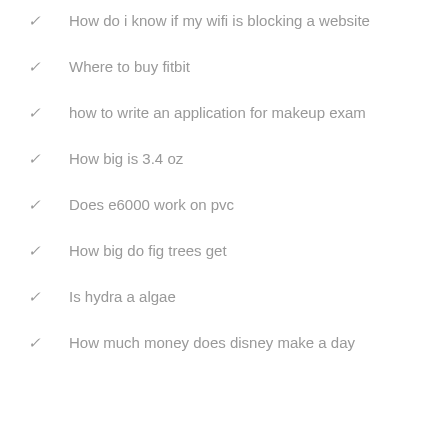How do i know if my wifi is blocking a website
Where to buy fitbit
how to write an application for makeup exam
How big is 3.4 oz
Does e6000 work on pvc
How big do fig trees get
Is hydra a algae
How much money does disney make a day